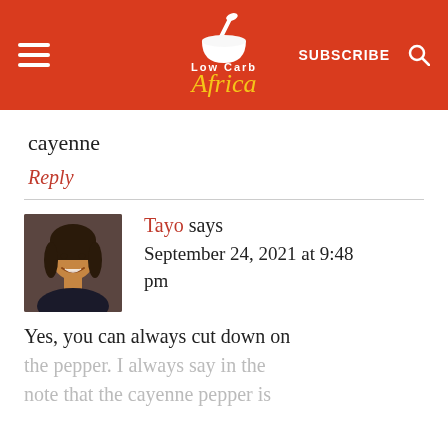[Figure (logo): Low Carb Africa website header with red background, hamburger menu, mortar and pestle logo with 'Low Carb Africa' text, SUBSCRIBE button, and search icon]
cayenne
Reply
[Figure (photo): Avatar photo of Tayo, a woman with dark hair smiling]
Tayo says
September 24, 2021 at 9:48 pm
Yes, you can always cut down on the pepper. I always say in the note that the cayenne pepper is...